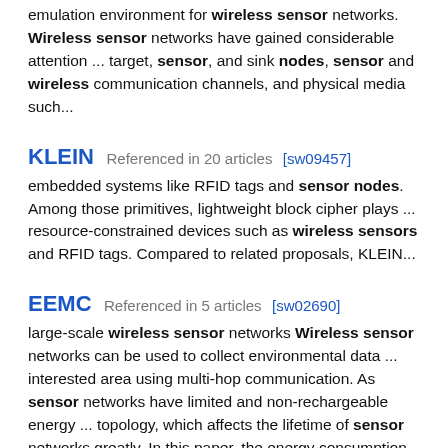emulation environment for wireless sensor networks. Wireless sensor networks have gained considerable attention ... target, sensor, and sink nodes, sensor and wireless communication channels, and physical media such...
KLEIN  Referenced in 20 articles [sw09457]
embedded systems like RFID tags and sensor nodes. Among those primitives, lightweight block cipher plays ... resource-constrained devices such as wireless sensors and RFID tags. Compared to related proposals, KLEIN...
EEMC  Referenced in 5 articles [sw02690]
large-scale wireless sensor networks Wireless sensor networks can be used to collect environmental data ... interested area using multi-hop communication. As sensor networks have limited and non-rechargeable energy ... topology, which affects the lifetime of sensor networks greatly. In this paper, the energy consumption